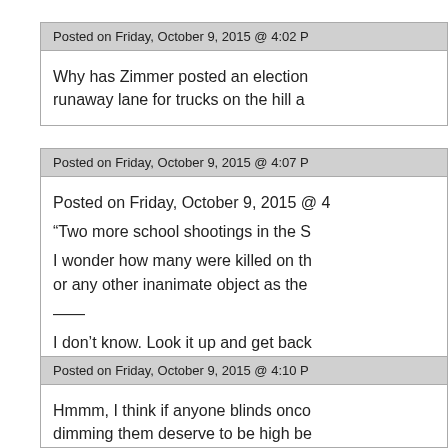Posted on Friday, October 9, 2015 @ 4:02 P
Why has Zimmer posted an election runaway lane for trucks on the hill a
Posted on Friday, October 9, 2015 @ 4:07 P
Posted on Friday, October 9, 2015 @
“Two more school shootings in the S
I wonder how many were killed on th or any other inanimate object as the
——
I don’t know. Look it up and get back
Posted on Friday, October 9, 2015 @ 4:10 P
Hmmm, I think if anyone blinds onco dimming them deserve to be high be braindead. (and I’ know you are) tha